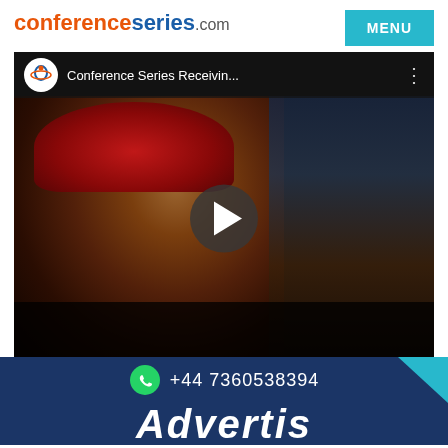conferenceseries.com
[Figure (screenshot): YouTube video thumbnail showing a person wearing a red beret, with the title 'Conference Series Receivin...' and a play button overlay. The video is from conferenceseries.com.]
+44 7360538394
Advert...